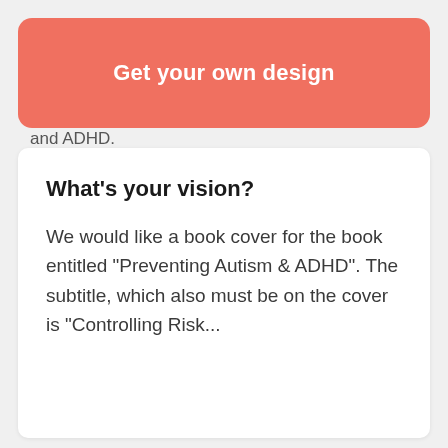About us
We are publishing a book on prevention of Autism and ADHD.
[Figure (other): Coral/salmon rounded rectangle button overlay with text 'Get your own design']
What's your vision?
We would like a book cover for the book entitled "Preventing Autism & ADHD". The subtitle, which also must be on the cover is "Controlling Risk...